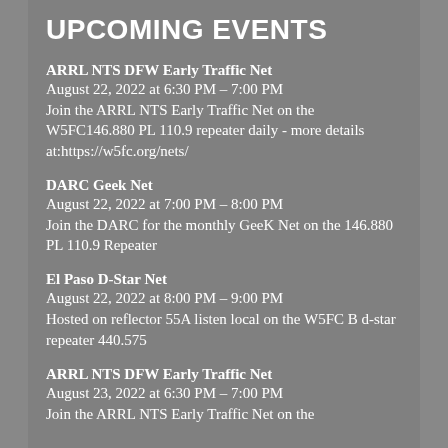UPCOMING EVENTS
ARRL NTS DFW Early Traffic Net
August 22, 2022 at 6:30 PM – 7:00 PM
Join the ARRL NTS Early Traffic Net on the W5FC146.880 PL 110.9 repeater daily - more details at:https://w5fc.org/nets/
DARC Geek Net
August 22, 2022 at 7:00 PM – 8:00 PM
Join the DARC for the monthly GeeK Net on the 146.880 PL 110.9 Repeater
El Paso D-Star Net
August 22, 2022 at 8:00 PM – 9:00 PM
Hosted on reflector 55A listen local on the W5FC B d-star repeater 440.575
ARRL NTS DFW Early Traffic Net
August 23, 2022 at 6:30 PM – 7:00 PM
Join the ARRL NTS Early Traffic Net on the